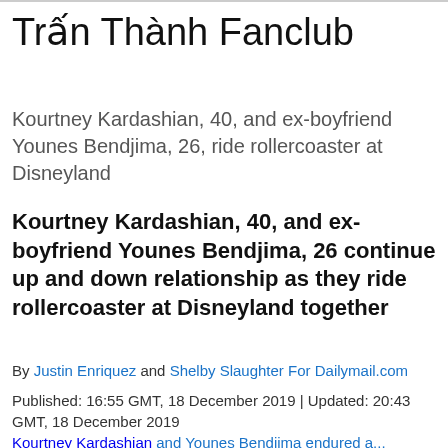Trấn Thành Fanclub
Kourtney Kardashian, 40, and ex-boyfriend Younes Bendjima, 26, ride rollercoaster at Disneyland
Kourtney Kardashian, 40, and ex-boyfriend Younes Bendjima, 26 continue up and down relationship as they ride rollercoaster at Disneyland together
By Justin Enriquez and Shelby Slaughter For Dailymail.com
Published: 16:55 GMT, 18 December 2019 | Updated: 20:43 GMT, 18 December 2019
Kourtney Kardashian and Younes Bendjima endured a...